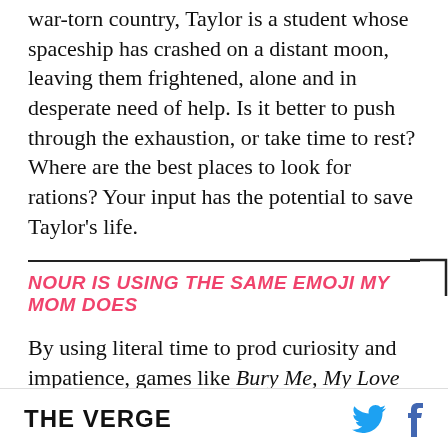war-torn country, Taylor is a student whose spaceship has crashed on a distant moon, leaving them frightened, alone and in desperate need of help. Is it better to push through the exhaustion, or take time to rest? Where are the best places to look for rations? Your input has the potential to save Taylor's life.
NOUR IS USING THE SAME EMOJI MY MOM DOES
By using literal time to prod curiosity and impatience, games like Bury Me, My Love and Lifeline change the way players build a relationship with the person on the other side...
THE VERGE